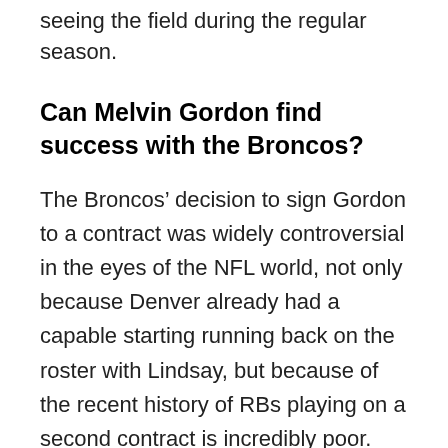seeing the field during the regular season.
Can Melvin Gordon find success with the Broncos?
The Broncos’ decision to sign Gordon to a contract was widely controversial in the eyes of the NFL world, not only because Denver already had a capable starting running back on the roster with Lindsay, but because of the recent history of RBs playing on a second contract is incredibly poor.
Gordon’s contract becomes especially concerning when you consider he’s posted an